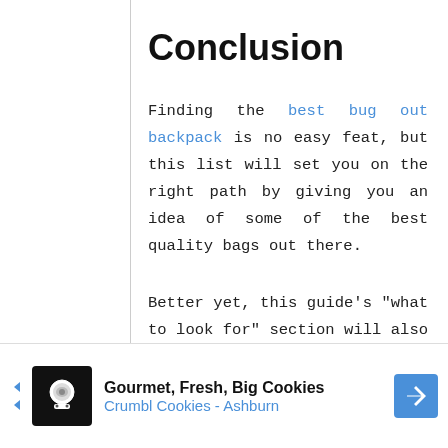Conclusion
Finding the best bug out backpack is no easy feat, but this list will set you on the right path by giving you an idea of some of the best quality bags out there.
Better yet, this guide’s “what to look for” section will also help you make a well-informed decision as you choose a backpack that best suits your needs.
[Figure (other): Advertisement banner for Crumbl Cookies - Ashburn: Gourmet, Fresh, Big Cookies]